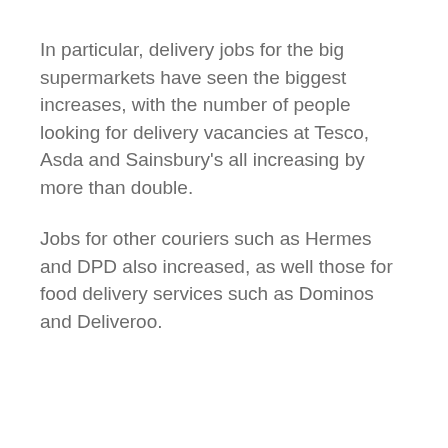In particular, delivery jobs for the big supermarkets have seen the biggest increases, with the number of people looking for delivery vacancies at Tesco, Asda and Sainsbury's all increasing by more than double.
Jobs for other couriers such as Hermes and DPD also increased, as well those for food delivery services such as Dominos and Deliveroo.